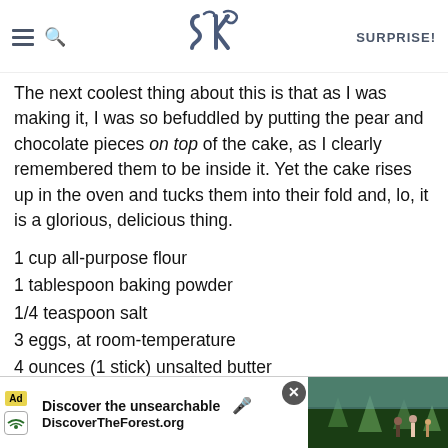SK SURPRISE!
The next coolest thing about this is that as I was making it, I was so befuddled by putting the pear and chocolate pieces on top of the cake, as I clearly remembered them to be inside it. Yet the cake rises up in the oven and tucks them into their fold and, lo, it is a glorious, delicious thing.
1 cup all-purpose flour
1 tablespoon baking powder
1/4 teaspoon salt
3 eggs, at room-temperature
4 ounces (1 stick) unsalted butter
3/4 cup sugar
3 pears, peeled, in a small dice (I used anjou, but would recomm[end another of your fa[vorite]
[Figure (screenshot): Ad banner: Discover the unsearchable — DiscoverTheForest.org with forest photo]